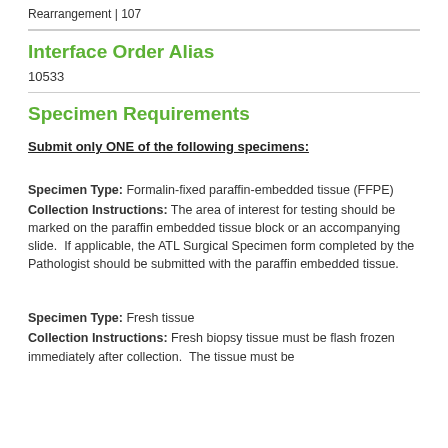Rearrangement | 107
Interface Order Alias
10533
Specimen Requirements
Submit only ONE of the following specimens:
Specimen Type: Formalin-fixed paraffin-embedded tissue (FFPE)
Collection Instructions: The area of interest for testing should be marked on the paraffin embedded tissue block or an accompanying slide.  If applicable, the ATL Surgical Specimen form completed by the Pathologist should be submitted with the paraffin embedded tissue.
Specimen Type: Fresh tissue
Collection Instructions: Fresh biopsy tissue must be flash frozen immediately after collection.  The tissue must be